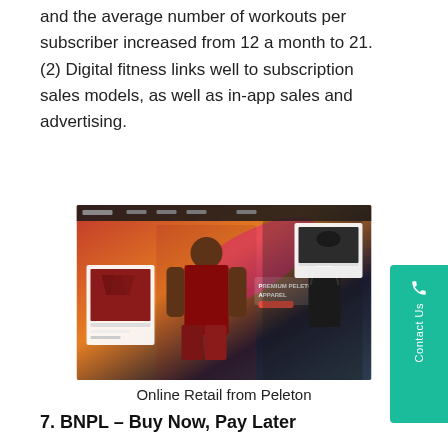and the average number of workouts per subscriber increased from 12 a month to 21.(2) Digital fitness links well to subscription sales models, as well as in-app sales and advertising.
[Figure (photo): Screenshot of Peleton's online retail website showing athletic apparel including a man in a maroon outfit and a woman in black workout gear, with text 'Premium Peleton Apparel' overlaid on a colorful background.]
Online Retail from Peleton
7. BNPL – Buy Now, Pay Later
This is an old idea that has become popular again and is growing. The key driver seems to be a range of issues around owning and using credit cards, including avoiding credit card charges. A study by